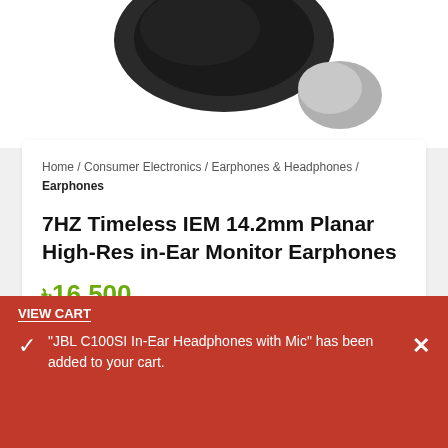[Figure (photo): Partial image of earphones/IEM device, dark grey/black color, visible at the top of the page against white background]
Home / Consumer Electronics / Earphones & Headphones / Earphones
7HZ Timeless IEM 14.2mm Planar High-Res in-Ear Monitor Earphones
৳16,500
- 1 + ADD TO CART BUY NOW
VIEW CART
"JBL C100SI In-Ear Headphones with Mic" has been added to your cart.